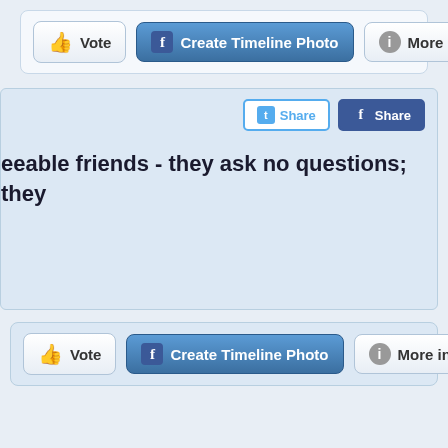[Figure (screenshot): Top action bar with Vote, Create Timeline Photo, and More info buttons]
[Figure (screenshot): Middle content section with Twitter and Facebook Share buttons and partial quote text: 'eeable friends - they ask no questions; they']
[Figure (screenshot): Bottom action bar with Vote, Create Timeline Photo, and More info buttons]